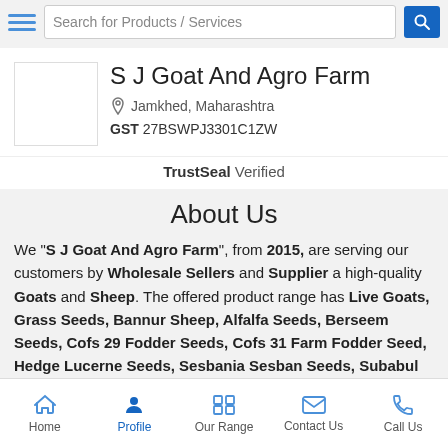Search for Products / Services
S J Goat And Agro Farm
Jamkhed, Maharashtra
GST 27BSWPJ3301C1ZW
TrustSeal Verified
About Us
We "S J Goat And Agro Farm", from 2015, are serving our customers by Wholesale Sellers and Supplier a high-quality Goats and Sheep. The offered product range has Live Goats, Grass Seeds, Bannur Sheep, Alfalfa Seeds, Berseem Seeds, Cofs 29 Fodder Seeds, Cofs 31 Farm Fodder Seed, Hedge Lucerne Seeds, Sesbania Sesban Seeds, Subabul Seeds, Corn Silage, Hari Patti, Goa... Fodder and many more. Our
Home  Profile  Our Range  Contact Us  Call Us